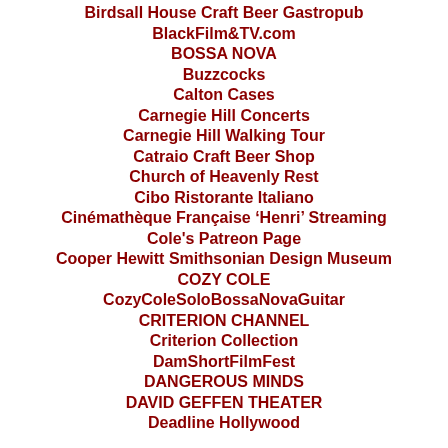Birdsall House Craft Beer Gastropub
BlackFilm&TV.com
BOSSA NOVA
Buzzcocks
Calton Cases
Carnegie Hill Concerts
Carnegie Hill Walking Tour
Catraio Craft Beer Shop
Church of Heavenly Rest
Cibo Ristorante Italiano
Cinémathèque Française 'Henri' Streaming
Cole's Patreon Page
Cooper Hewitt Smithsonian Design Museum
COZY COLE
CozyColeSoloBossaNovaGuitar
CRITERION CHANNEL
Criterion Collection
DamShortFilmFest
DANGEROUS MINDS
DAVID GEFFEN THEATER
Deadline Hollywood